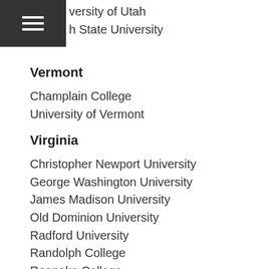versity of Utah
h State University
Vermont
Champlain College
University of Vermont
Virginia
Christopher Newport University
George Washington University
James Madison University
Old Dominion University
Radford University
Randolph College
Roanoke College
Shenandoah University
University of Richmond
University of Virginia
Virginia Polytechnic Institute and State University